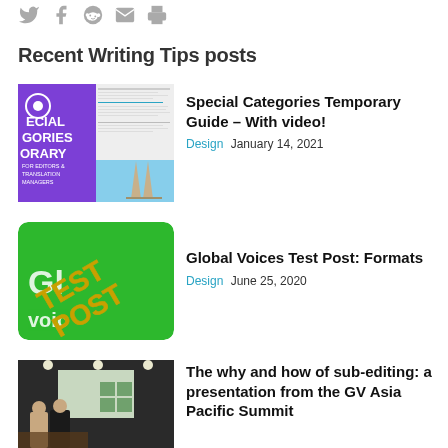[Figure (other): Social media sharing icons: Twitter, Facebook, Reddit, Email, Print]
Recent Writing Tips posts
[Figure (photo): Thumbnail for Special Categories Temporary Guide article - purple background with white text and document screenshot]
Special Categories Temporary Guide – With video!
Design  January 14, 2021
[Figure (photo): Thumbnail for Global Voices Test Post - green background with GV logo and TEST POST diagonal text]
Global Voices Test Post: Formats
Design  June 25, 2020
[Figure (photo): Thumbnail for sub-editing presentation article - photo of people at GV Asia Pacific Summit]
The why and how of sub-editing: a presentation from the GV Asia Pacific Summit